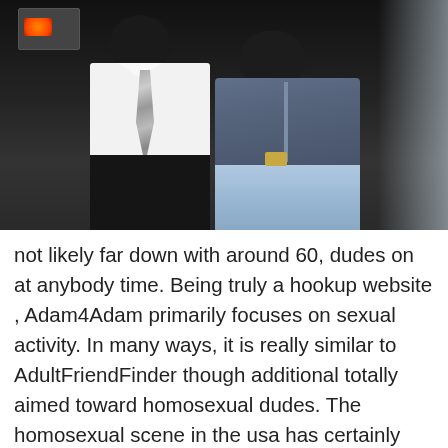[Figure (photo): Two people standing together at night. The person on the left wears a white shirt with a metallic/sequin tie. The person on the right wears a blue zip-up jacket and light blue jeans. There is smoke or fog visible on the right side of the image.]
not likely far down with around 60, dudes on at anybody time. Being truly a hookup website , Adam4Adam primarily focuses on sexual activity. In many ways, it is really similar to AdultFriendFinder though additional totally aimed toward homosexual dudes. The homosexual scene in the usa has certainly modified within the last few few years, by having a large amount of simply just what had been when homosexual bars now being changed with